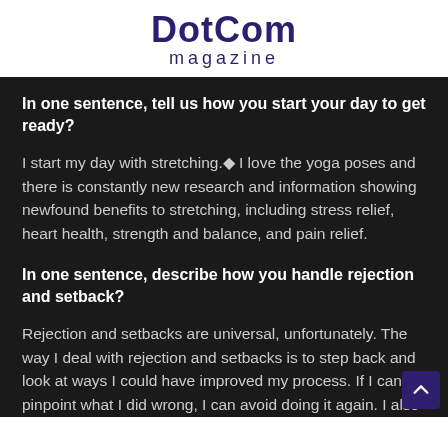DotCom magazine
In one sentence, tell us how you start your day to get ready?
I start my day with stretching.◆ I love the yoga poses and there is constantly new research and information showing newfound benefits to stretching, including stress relief, heart health, strength and balance, and pain relief.
In one sentence, describe how you handle rejection and setback?
Rejection and setbacks are universal, unfortunately. The way I deal with rejection and setbacks is to step back and look at ways I could have improved my process. If I can pinpoint what I did wrong, I can avoid doing it again. I also attempt to tall